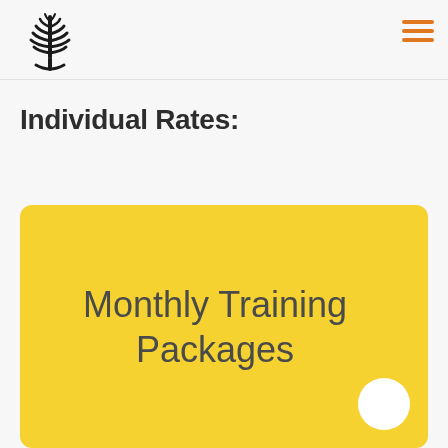Logo and navigation header
[Figure (logo): Black tree/plant logo mark resembling a stylized spine or fern]
[Figure (illustration): Orange hamburger menu icon with three horizontal lines]
Individual Rates:
[Figure (infographic): Yellow rounded rectangle card containing the text 'Monthly Training Packages' with a white circle button in the bottom right corner]